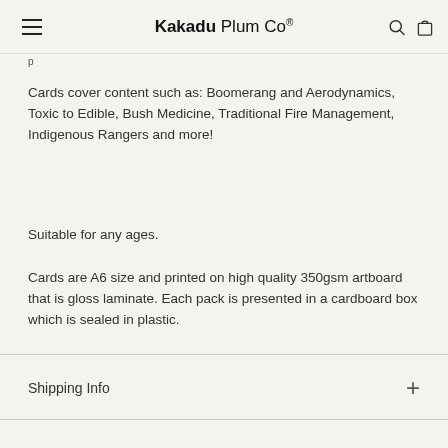Kakadu Plum Co®
Cards cover content such as: Boomerang and Aerodynamics, Toxic to Edible, Bush Medicine, Traditional Fire Management, Indigenous Rangers and more!
Suitable for any ages.
Cards are A6 size and printed on high quality 350gsm artboard that is gloss laminate. Each pack is presented in a cardboard box which is sealed in plastic.
Shipping Info